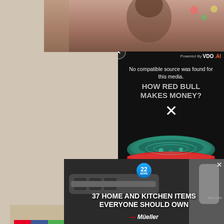[Figure (screenshot): Background collage: woman and child photo at top, portrait of Herbert Spencer at left, social media share buttons (Pinterest, Facebook, helpful)]
[Figure (screenshot): Video player overlay with dark background showing 'No compatible source was found for this media.' and 'HOW RED BULL MAKES MONEY?' title with teal Red Bull can image and X close mark. Powered by VDO.AI branding. Close button and dismiss X.]
[Figure (screenshot): Advertisement banner: '37 HOME AND KITCHEN ITEMS EVERYONE SHOULD OWN' with Mueller logo and kitchen tools photo. Badge showing '22'.]